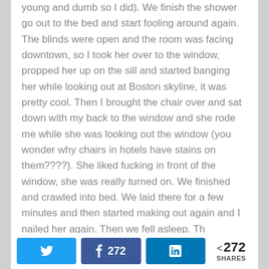young and dumb so I did). We finish the shower go out to the bed and start fooling around again. The blinds were open and the room was facing downtown, so I took her over to the window, propped her up on the sill and started banging her while looking out at Boston skyline, it was pretty cool. Then I brought the chair over and sat down with my back to the window and she rode me while she was looking out the window (you wonder why chairs in hotels have stains on them????). She liked fucking in front of the window, she was really turned on. We finished and crawled into bed. We laid there for a few minutes and then started making out again and I nailed her again. Then we fell asleep. Th
Twitter | Facebook 272 | LinkedIn | < 272 SHARES